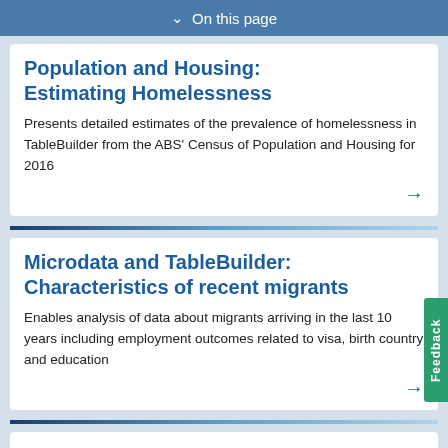On this page
Population and Housing: Estimating Homelessness
Presents detailed estimates of the prevalence of homelessness in TableBuilder from the ABS' Census of Population and Housing for 2016
Microdata and TableBuilder: Characteristics of recent migrants
Enables analysis of data about migrants arriving in the last 10 years including employment outcomes related to visa, birth country and education
TableBuilder: Childhood Education